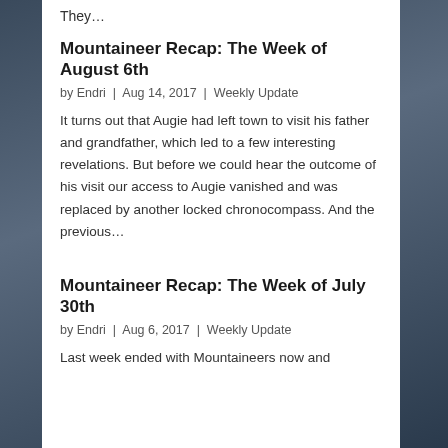They…
Mountaineer Recap: The Week of August 6th
by Endri | Aug 14, 2017 | Weekly Update
It turns out that Augie had left town to visit his father and grandfather, which led to a few interesting revelations. But before we could hear the outcome of his visit our access to Augie vanished and was replaced by another locked chronocompass. And the previous…
Mountaineer Recap: The Week of July 30th
by Endri | Aug 6, 2017 | Weekly Update
Last week ended with Mountaineers now and